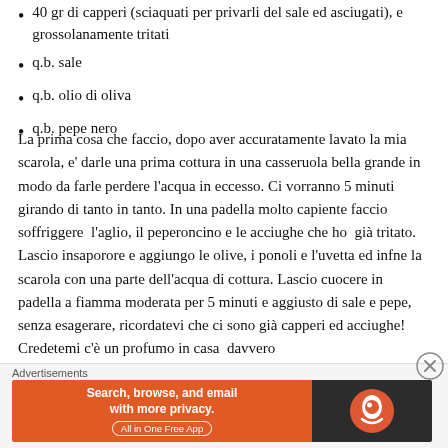40 gr di capperi (sciaquati per privarli del sale ed asciugati), e grossolanamente tritati
q.b. sale
q.b. olio di oliva
q.b. pepe nero
La prima cosa che faccio, dopo aver accuratamente lavato la mia scarola, e' darle una prima cottura in una casseruola bella grande in modo da farle perdere l'acqua in eccesso. Ci vorranno 5 minuti girando di tanto in tanto. In una padella molto capiente faccio soffriggere l'aglio, il peperoncino e le acciughe che ho già tritato. Lascio insaporore e aggiungo le olive, i ponoli e l'uvetta ed infne la scarola con una parte dell'acqua di cottura. Lascio cuocere in padella a fiamma moderata per 5 minuti e aggiusto di sale e pepe, senza esagerare, ricordatevi che ci sono già capperi ed acciughe! Credetemi c'è un profumo in casa davvero
Advertisements